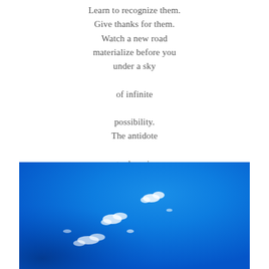Learn to recognize them.
Give thanks for them.
Watch a new road
materialize before you
under a sky
of infinite
possibility.
The antidote
to despair
is not hope
but gratitude.
[Figure (photo): A vivid blue sky with a few small scattered white clouds, photographed from below looking upward. The image is wide format with deep blue tones and a dark lower left corner.]